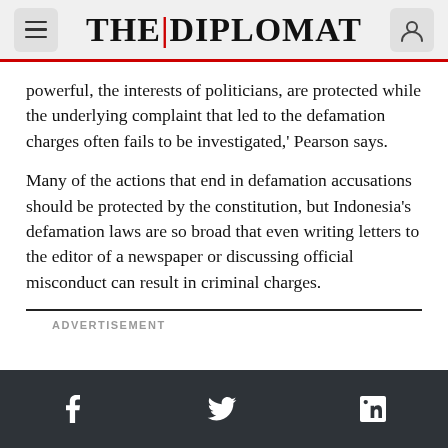THE DIPLOMAT
powerful, the interests of politicians, are protected while the underlying complaint that led to the defamation charges often fails to be investigated,' Pearson says.
Many of the actions that end in defamation accusations should be protected by the constitution, but Indonesia's defamation laws are so broad that even writing letters to the editor of a newspaper or discussing official misconduct can result in criminal charges.
ADVERTISEMENT
f   twitter   in